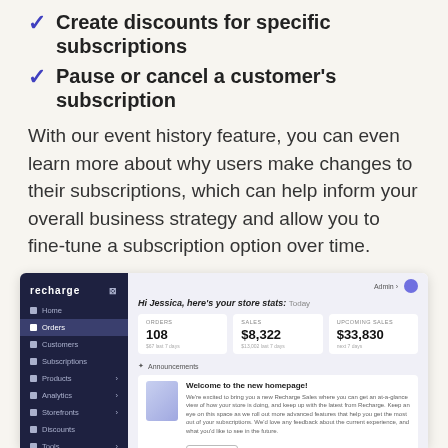Create discounts for specific subscriptions
Pause or cancel a customer's subscription
With our event history feature, you can even learn more about why users make changes to their subscriptions, which can help inform your overall business strategy and allow you to fine-tune a subscription option over time.
[Figure (screenshot): Screenshot of the Recharge dashboard showing the Orders section with stats: 108 orders, $8,322 sales, $33,830 upcoming sales, and an Announcements section with 'Welcome to the new homepage!' card.]